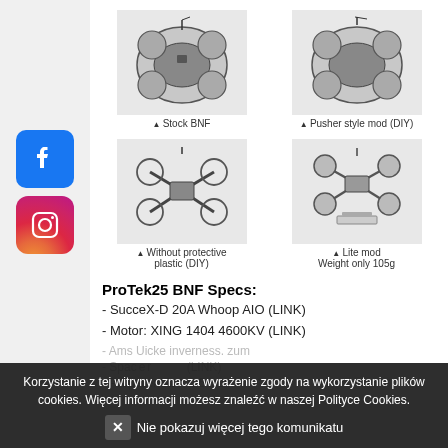[Figure (photo): Facebook logo icon - blue square with white F]
[Figure (photo): Instagram logo icon - gradient square with camera outline]
[Figure (photo): Four views of ProTek25 drone: Stock BNF, Pusher style mod (DIY), Without protective plastic (DIY), Lite mod Weight only 105g]
ProTek25 BNF Specs:
- SucceX-D 20A Whoop AIO  (LINK)
- Motor: XING 1404 4600KV (LINK)
- Wheelbase: 114mm
- Body Size: 91*68.7mm
- Bottom plate thickness: 3mm
Korzystanie z tej witryny oznacza wyrażenie zgody na wykorzystanie plików cookies. Więcej informacji możesz znaleźć w naszej Polityce Cookies.
✕  Nie pokazuj więcej tego komunikatu